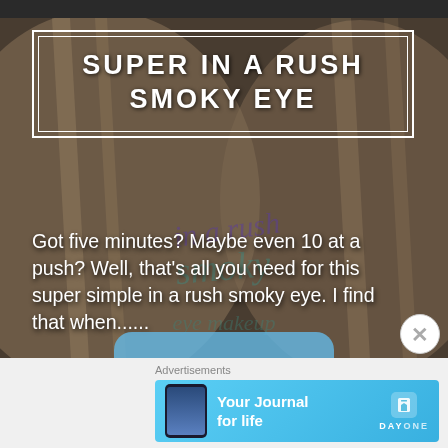[Figure (photo): Two blonde women close-up faces with smoky eye makeup, dark/moody background with cursive script watermark overlay reading 'in a rush smoky eye']
SUPER IN A RUSH SMOKY EYE
Got five minutes? Maybe even 10 at a push? Well, that’s all you need for this super simple in a rush smoky eye. I find that when......
Advertisements
[Figure (infographic): Advertisement banner for Day One journal app. Blue background with phone image on left and text 'Your Journal for life' with DAY ONE logo on right.]